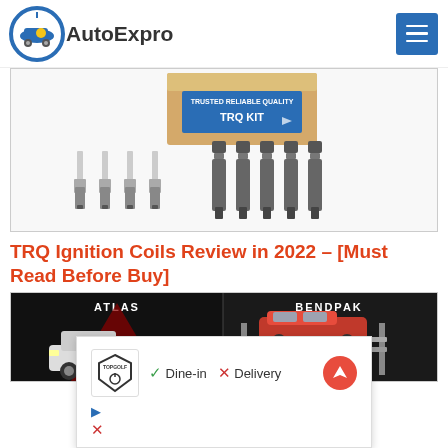AutoExpro
[Figure (photo): TRQ Kit product photo showing spark plugs and ignition coils, with TRQ branded box in background]
TRQ Ignition Coils Review in 2022 – [Must Read Before Buy]
[Figure (photo): Comparison image showing Atlas truck on left and BendPak car lift with red sports car on right]
[Figure (other): Advertisement overlay: TopGolf logo, Dine-in checkmark, Delivery X mark, navigation arrow icon, with additional ad control icons below]